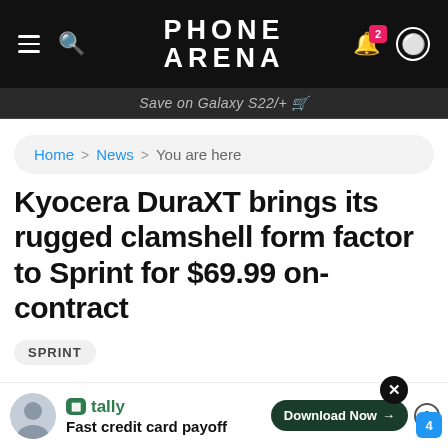PHONE ARENA
Save on Galaxy S22/+
Home > News > You are here
Kyocera DuraXT brings its rugged clamshell form factor to Sprint for $69.99 on-contract
SPRINT
JUN 11, 2012, 10:36 AM
[Figure (other): Advertisement banner: Tally - Fast credit card payoff with Download Now button]